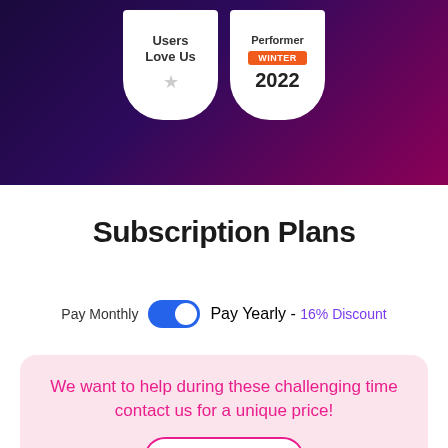[Figure (illustration): Dark purple-to-magenta gradient hero background with two badge icons: 'Users Love Us' and 'Performer Winter 2022']
Subscription Plans
Pay Monthly  [toggle]  Pay Yearly - 16% Discount
We want to help during these challenging time contact us for a unique price!
Contact Us